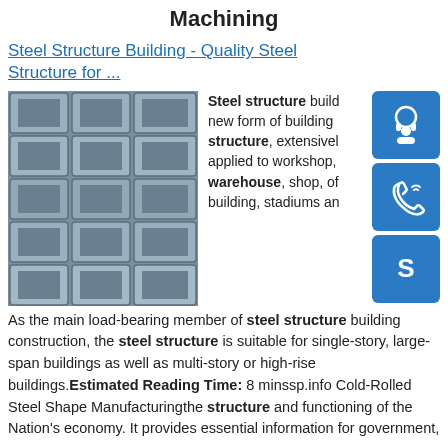Warehouses Steel Structure Machining
Steel Structure Building - Quality Steel Structure for ...
[Figure (photo): Stacked galvanized steel C-channel sections photographed from the front]
[Figure (infographic): Three blue icon buttons: headset/support icon, phone/call icon, Skype icon]
Steel structure building is a new form of building structure, extensively applied to workshop, warehouse, shop, office building, stadiums and more. As the main load-bearing member of steel structure building construction, the steel structure is suitable for single-story, large-span buildings as well as multi-story or high-rise buildings.Estimated Reading Time: 8 minssp.info Cold-Rolled Steel Shape Manufacturingthe structure and functioning of the Nation's economy. It provides essential information for government,